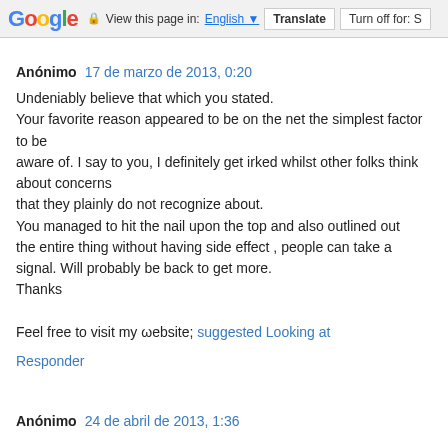Google  View this page in: English [▼]  Translate  Turn off for: S
Anónimo  17 de marzo de 2013, 0:20
Undeniably believe that which you stated.
Your favorite reason appeared to be on the net the simplest factor to be
aware of. I say to you, I definitely get irked whilst other folks think about concerns
that they plainly do not recognize about.
You managed to hit the nail upon the top and also outlined out
the entire thing without having side effect , people can take a signal. Will probably be back to get more.
Thanks

Feel free to visit my ωebsite; suggested Looking at
Responder
Anónimo  24 de abril de 2013, 1:36